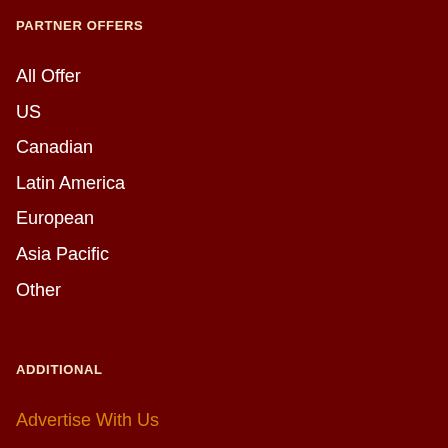PARTNER OFFERS
All Offer
US
Canadian
Latin America
European
Asia Pacific
Other
ADDITIONAL
Advertise With Us
Our Brands